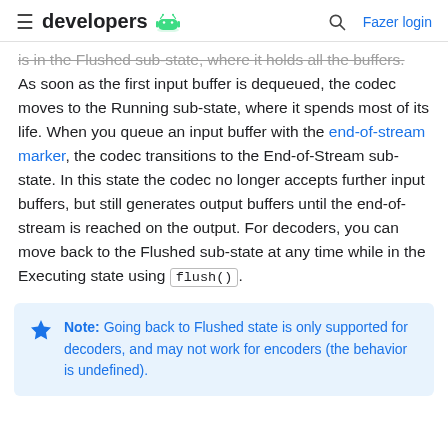developers | Fazer login
is in the Flushed sub-state, where it holds all the buffers. As soon as the first input buffer is dequeued, the codec moves to the Running sub-state, where it spends most of its life. When you queue an input buffer with the end-of-stream marker, the codec transitions to the End-of-Stream sub-state. In this state the codec no longer accepts further input buffers, but still generates output buffers until the end-of-stream is reached on the output. For decoders, you can move back to the Flushed sub-state at any time while in the Executing state using flush().
Note: Going back to Flushed state is only supported for decoders, and may not work for encoders (the behavior is undefined).